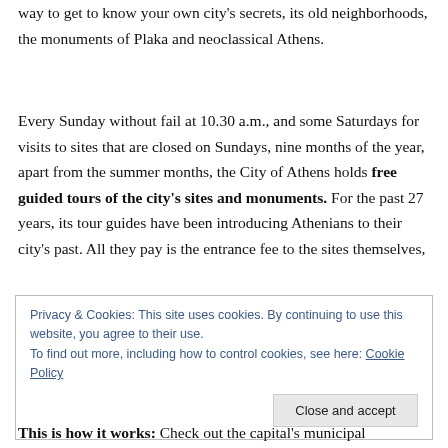way to get to know your own city's secrets, its old neighborhoods, the monuments of Plaka and neoclassical Athens.
Every Sunday without fail at 10.30 a.m., and some Saturdays for visits to sites that are closed on Sundays, nine months of the year, apart from the summer months, the City of Athens holds free guided tours of the city's sites and monuments. For the past 27 years, its tour guides have been introducing Athenians to their city's past. All they pay is the entrance fee to the sites themselves,
Privacy & Cookies: This site uses cookies. By continuing to use this website, you agree to their use.
To find out more, including how to control cookies, see here: Cookie Policy
Close and accept
This is how it works: Check out the capital's municipal